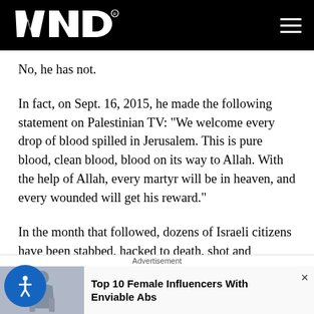WND
No, he has not.
In fact, on Sept. 16, 2015, he made the following statement on Palestinian TV: "We welcome every drop of blood spilled in Jerusalem. This is pure blood, clean blood, blood on its way to Allah. With the help of Allah, every martyr will be in heaven, and every wounded will get his reward."
In the month that followed, dozens of Israeli citizens have been stabbed, hacked to death, shot and attacked b
Advertisement
Top 10 Female Influencers With Enviable Abs